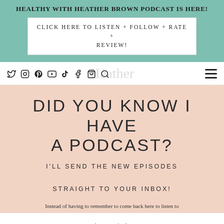HEALTHY WITH HEATHER BROWN PODCAST IS HERE!
CLICK HERE TO LISTEN + FOLLOW + RATE + REVIEW!
[Figure (screenshot): Website navigation bar with social media icons (Twitter, Instagram, Pinterest, YouTube, TikTok, Facebook, Cart, Search) and a hamburger menu, with a script logo overlay reading 'Heather']
DID YOU KNOW I HAVE A PODCAST?
I'LL SEND THE NEW EPISODES STRAIGHT TO YOUR INBOX!
Instead of having to remember to come back here to listen to the next episode,